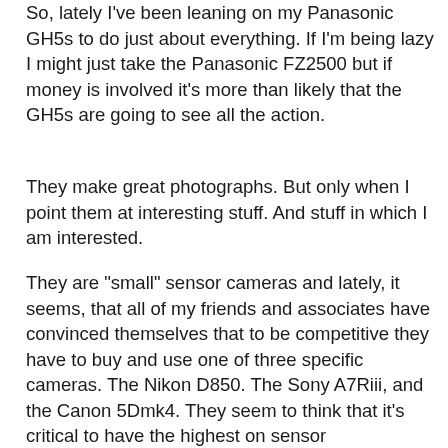So, lately I've been leaning on my Panasonic GH5s to do just about everything. If I'm being lazy I might just take the Panasonic FZ2500 but if money is involved it's more than likely that the GH5s are going to see all the action.
They make great photographs. But only when I point them at interesting stuff. And stuff in which I am interested.
They are "small" sensor cameras and lately, it seems, that all of my friends and associates have convinced themselves that to be competitive they have to buy and use one of three specific cameras. The Nikon D850. The Sony A7Riii, and the Canon 5Dmk4. They seem to think that it's critical to have the highest on sensor performance that money can buy in order to do work that will stand the test of time and the more important test of tickling the fancies of the people who have the ability to write checks for photography. I understand the impulse to trend into overkill. I guess it means never having to second guess one's self while on an assignment.
I had lunch two weeks ago with a photographer friend of many, many years. If you think I love to switch gear you'd be...